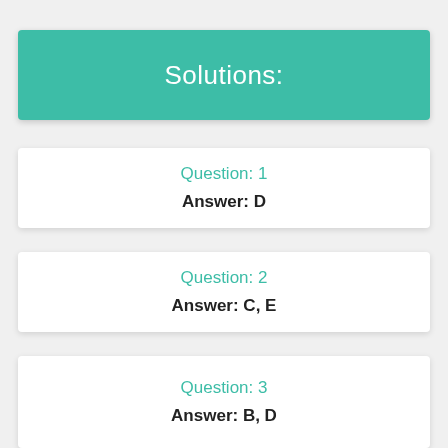Solutions:
Question: 1
Answer: D
Question: 2
Answer: C, E
Question: 3
Answer: B, D